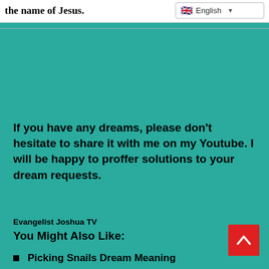the name of Jesus.
If you have any dreams, please don't hesitate to share it with me on my Youtube. I will be happy to proffer solutions to your dream requests.
Evangelist Joshua TV
You Might Also Like:
Picking Snails Dream Meaning